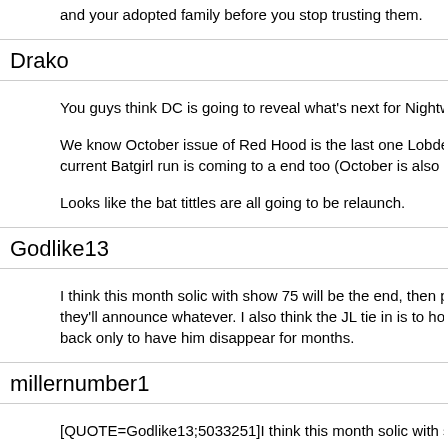and your adopted family before you stop trusting them.
Drako
You guys think DC is going to reveal what's next for Nightwing in thi
We know October issue of Red Hood is the last one Lobdell is writin current Batgirl run is coming to a end too (October is also her 50th i
Looks like the bat tittles are all going to be relaunch.
Godlike13
I think this month solic with show 75 will be the end, then probably w they'll announce whatever. I also think the JL tie in is to hold people back only to have him disappear for months.
millernumber1
[QUOTE=Godlike13;5033251]I think this month solic with show 75 w